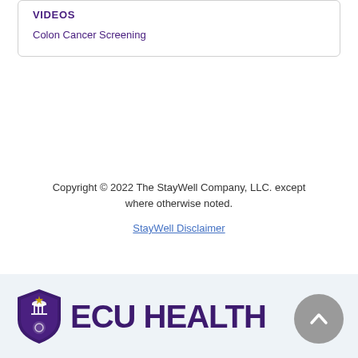VIDEOS
Colon Cancer Screening
Copyright © 2022 The StayWell Company, LLC. except where otherwise noted.
StayWell Disclaimer
[Figure (logo): ECU Health logo with shield icon and text 'ECU HEALTH' in purple on a light blue-grey background footer band]